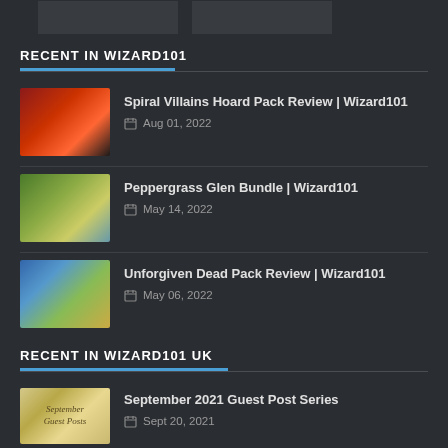[Figure (screenshot): Two dark thumbnail images at top of page]
RECENT IN WIZARD101
Spiral Villains Hoard Pack Review | Wizard101 — Aug 01, 2022
Peppergrass Glen Bundle | Wizard101 — May 14, 2022
Unforgiven Dead Pack Review | Wizard101 — May 06, 2022
RECENT IN WIZARD101 UK
September 2021 Guest Post Series — Sept 20, 2021